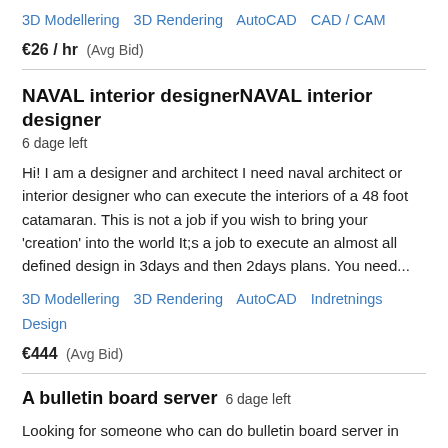3D Modellering   3D Rendering   AutoCAD   CAD / CAM
€26 / hr  (Avg Bid)
NAVAL interior designerNAVAL interior designer
6 dage left
Hi! I am a designer and architect I need naval architect or interior designer who can execute the interiors of a 48 foot catamaran. This is not a job if you wish to bring your 'creation' into the world It;s a job to execute an almost all defined design in 3days and then 2days plans. You need...
3D Modellering   3D Rendering   AutoCAD   Indretnings Design
€444  (Avg Bid)
A bulletin board server
6 dage left
Looking for someone who can do bulletin board server in